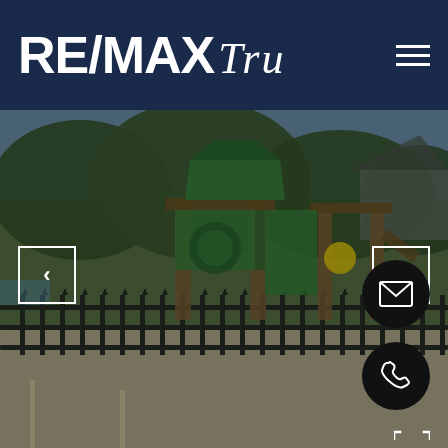[Figure (logo): RE/MAX Tru real estate logo in white text on dark navy blue background, with hamburger menu icon in top right]
[Figure (photo): Outdoor playground equipment with green structure and wooden posts behind a black iron fence, blurred background with trees and a house. Navigation arrows on left and right sides. Email and phone FAB buttons on right side. Expand icon bottom right.]